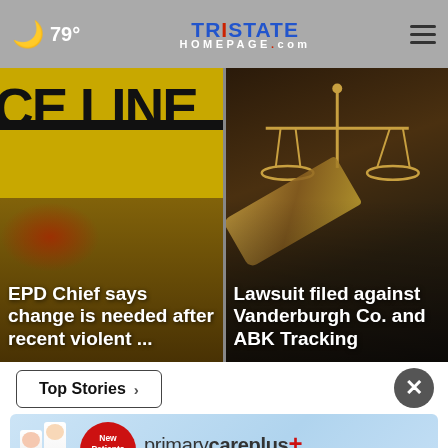79° | TRISTATE HOMEPAGE.com
[Figure (photo): Police crime scene tape (CE LINE) with yellow background and blurred red elements in foreground]
EPD Chief says change is needed after recent violent ...
[Figure (photo): Legal gavel and scales of justice on dark background]
Lawsuit filed against Vanderburgh Co. and ABK Tracking
Top Stories ›
[Figure (infographic): primarycareplus+ advertisement banner with red circle saying New Patients Welcome and two medical professionals]